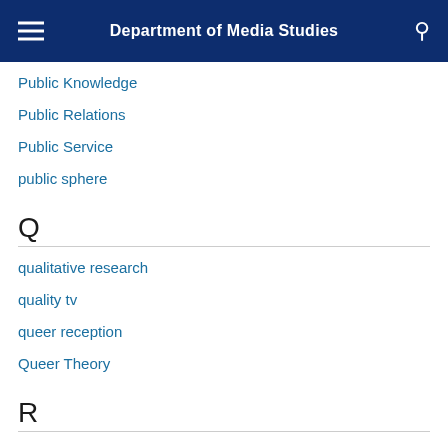Department of Media Studies
Public Knowledge
Public Relations
Public Service
public sphere
Q
qualitative research
quality tv
queer reception
Queer Theory
R
Race